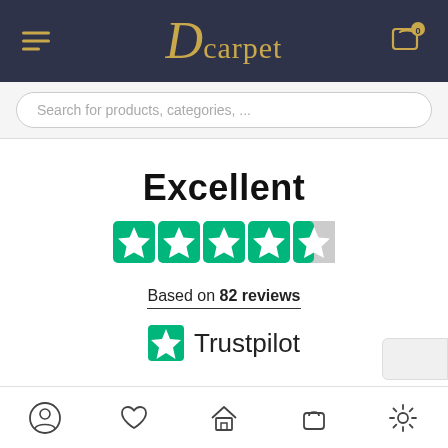Dcarpet — navigation header with logo, hamburger menu, and cart icon
Search for products, categories, ...
Excellent
[Figure (other): Trustpilot rating: 4.5 out of 5 green stars (4 full green stars and 1 half green star)]
Based on 82 reviews
[Figure (logo): Trustpilot logo: green star icon followed by the text Trustpilot]
Bottom navigation bar with icons: profile, wishlist/heart, home, bag/cart, settings